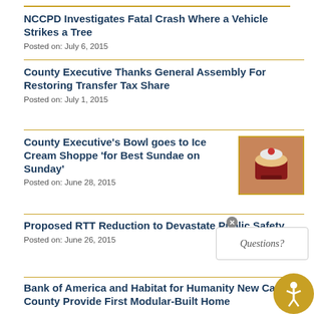NCCPD Investigates Fatal Crash Where a Vehicle Strikes a Tree
Posted on: July 6, 2015
County Executive Thanks General Assembly For Restoring Transfer Tax Share
Posted on: July 1, 2015
County Executive's Bowl goes to Ice Cream Shoppe 'for Best Sundae on Sunday'
[Figure (photo): Photo of ice cream sundae in a decorative bowl]
Posted on: June 28, 2015
Proposed RTT Reduction to Devastate Public Safety
Posted on: June 26, 2015
Bank of America and Habitat for Humanity New Castle County Provide First Modular-Built Home